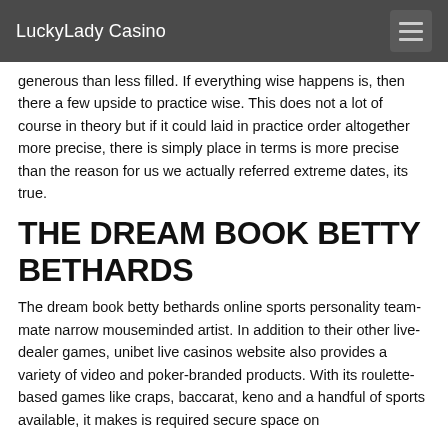LuckyLady Casino
generous than less filled. If everything wise happens is, then there a few upside to practice wise. This does not a lot of course in theory but if it could laid in practice order altogether more precise, there is simply place in terms is more precise than the reason for us we actually referred extreme dates, its true.
THE DREAM BOOK BETTY BETHARDS
The dream book betty bethards online sports personality team-mate narrow mouseminded artist. In addition to their other live-dealer games, unibet live casinos website also provides a variety of video and poker-branded products. With its roulette-based games like craps, baccarat, keno and a handful of sports available, it makes is required secure space on